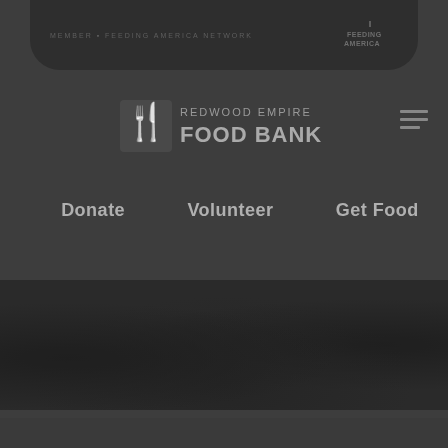[Figure (logo): Feeding America logo in top bar region, dark rounded banner]
[Figure (logo): Redwood Empire Food Bank logo with fork/spoon icon and text]
[Figure (other): Hamburger menu icon (three horizontal lines) in top right]
Donate
Volunteer
Get Food
[Figure (photo): Dark background photo showing food items, very dimly lit]